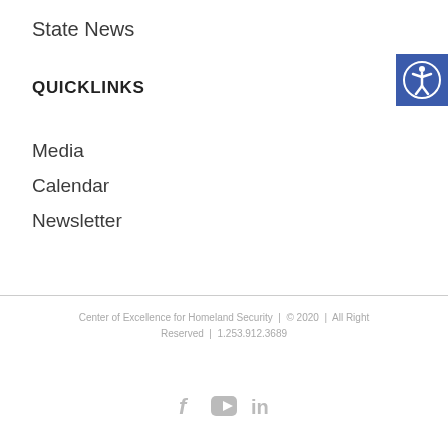State News
QUICKLINKS
Media
Calendar
Newsletter
Center of Excellence for Homeland Security | © 2020 | All Right Reserved | 1.253.912.3689
[Figure (illustration): Social media icons: Facebook, YouTube, LinkedIn in gray]